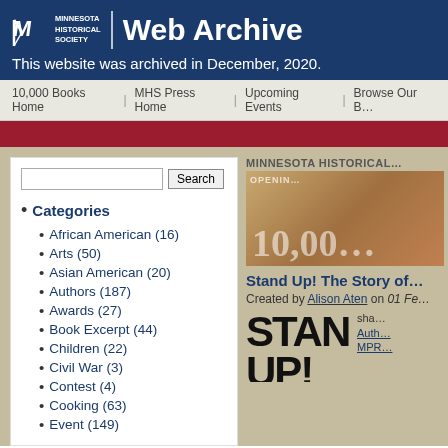Minnesota Historical Society | Web Archive
This website was archived in December, 2020.
10,000 Books Home | MHS Press Home | Upcoming Events | Browse Our B...
MINNESOTA HISTORICAL...
[Figure (screenshot): Promotional banner showing '10,000' in large text with ornamental background]
Stand Up! The Story of...
Created by Alison Aten on 01 Fe...
Categories
African American (16)
Arts (50)
Asian American (20)
Authors (187)
Awards (27)
Book Excerpt (44)
Children (22)
Civil War (3)
Contest (4)
Cooking (63)
Event (149)
[Figure (screenshot): Stand Up book cover showing large bold text STAND UPI]